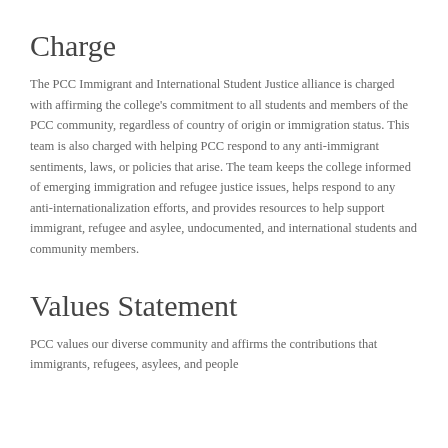Charge
The PCC Immigrant and International Student Justice alliance is charged with affirming the college's commitment to all students and members of the PCC community, regardless of country of origin or immigration status. This team is also charged with helping PCC respond to any anti-immigrant sentiments, laws, or policies that arise. The team keeps the college informed of emerging immigration and refugee justice issues, helps respond to any anti-internationalization efforts, and provides resources to help support immigrant, refugee and asylee, undocumented, and international students and community members.
Values Statement
PCC values our diverse community and affirms the contributions that immigrants, refugees, asylees, and people